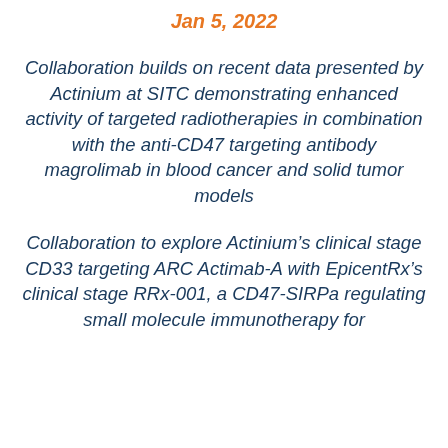Jan 5, 2022
Collaboration builds on recent data presented by Actinium at SITC demonstrating enhanced activity of targeted radiotherapies in combination with the anti-CD47 targeting antibody magrolimab in blood cancer and solid tumor models
Collaboration to explore Actinium’s clinical stage CD33 targeting ARC Actimab-A with EpicentRx’s clinical stage RRx-001, a CD47-SIRPa regulating small molecule immunotherapy for